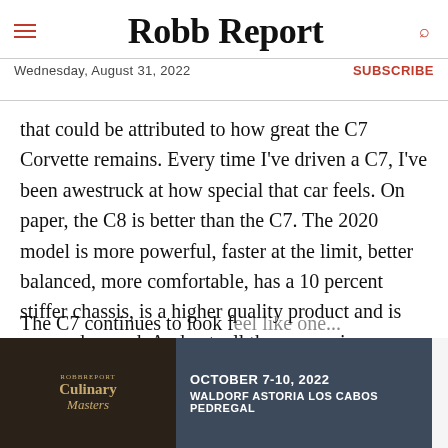Robb Report
Wednesday, August 31, 2022 | SUBSCRIBE
that could be attributed to how great the C7 Corvette remains. Every time I've driven a C7, I've been awestruck at how special that car feels. On paper, the C8 is better than the C7. The 2020 model is more powerful, faster at the limit, better balanced, more comfortable, has a 10 percent stiffer chassis, is a higher quality product and is more advanced. And yet, all those superior attributes feel as though they're working independent of one another.
The C7 continues to look...
[Figure (infographic): Advertisement banner for Robb Report Culinary Masters event, October 7-10, 2022, Waldorf Astoria Los Cabos Pedregal]